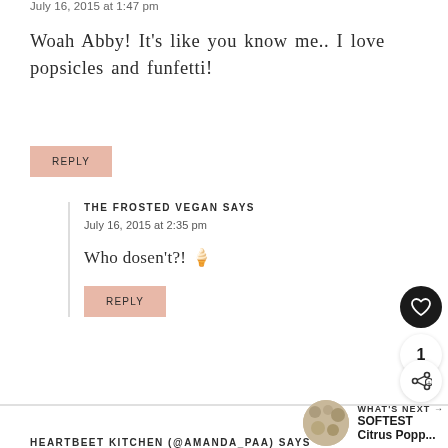July 16, 2015 at 1:47 pm
Woah Abby! It's like you know me.. I love popsicles and funfetti!
REPLY
THE FROSTED VEGAN SAYS
July 16, 2015 at 2:35 pm
Who dosen't?! 🍦
REPLY
WHAT'S NEXT → SOFTEST Citrus Popp...
HEARTBEET KITCHEN (@AMANDA_PAA) SAYS